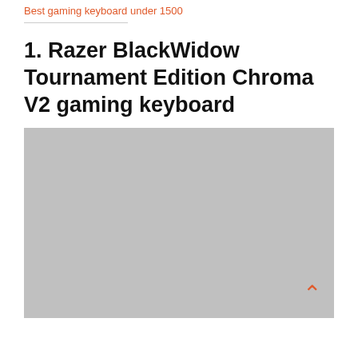Best gaming keyboard under 1500
1. Razer BlackWidow Tournament Edition Chroma V2 gaming keyboard
[Figure (photo): Large grey placeholder image for Razer BlackWidow Tournament Edition Chroma V2 gaming keyboard product photo]